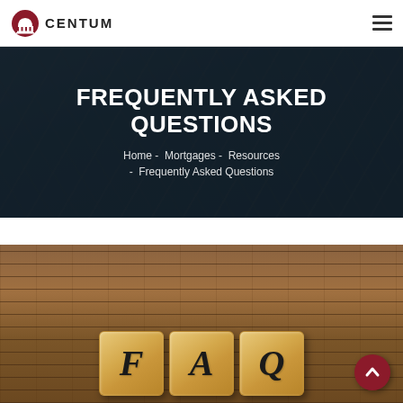CENTUM — navigation bar with logo and hamburger menu
FREQUENTLY ASKED QUESTIONS
Home - Mortgages - Resources - Frequently Asked Questions
[Figure (photo): Wooden letter blocks spelling FAQ on a wooden desk surface, with a scroll-to-top arrow button in the bottom right corner]